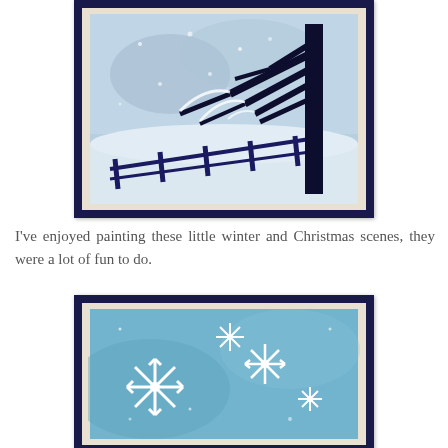[Figure (illustration): Watercolor painting of a winter scene: bare dark tree silhouette on right with snow-covered branches, a dark wooden fence running diagonally across a snowy landscape, blue-grey sky with snow effect. Framed with dark navy outer frame and cream/beige inner mat.]
I've enjoyed painting these little winter and Christmas scenes, they were a lot of fun to do.
[Figure (illustration): Watercolor painting of snowflakes on a blue background. Multiple white snowflake shapes of varying sizes on a light blue watercolor wash background. Framed with dark navy outer frame and cream/beige inner mat.]